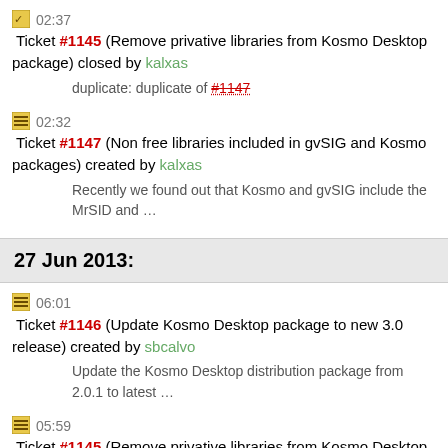02:37 Ticket #1145 (Remove privative libraries from Kosmo Desktop package) closed by kalxas
duplicate: duplicate of #1147
02:32 Ticket #1147 (Non free libraries included in gvSIG and Kosmo packages) created by kalxas
Recently we found out that Kosmo and gvSIG include the MrSID and …
27 Jun 2013:
06:01 Ticket #1146 (Update Kosmo Desktop package to new 3.0 release) created by sbcalvo
Update the Kosmo Desktop distribution package from 2.0.1 to latest …
05:59 Ticket #1145 (Remove privative libraries from Kosmo Desktop package) created by sbcalvo
As pointed by Angelos Tzotsos, MrSid? and ECW libraries are not …
02:41 Ticket #1144 (Remove privative libraries from